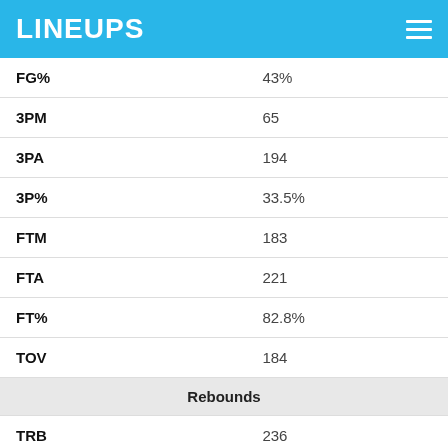LINEUPS
| Stat | Value |
| --- | --- |
| FG% | 43% |
| 3PM | 65 |
| 3PA | 194 |
| 3P% | 33.5% |
| FTM | 183 |
| FTA | 221 |
| FT% | 82.8% |
| TOV | 184 |
| Rebounds |  |
| TRB | 236 |
| ORB | 50 |
| DRB | 186 |